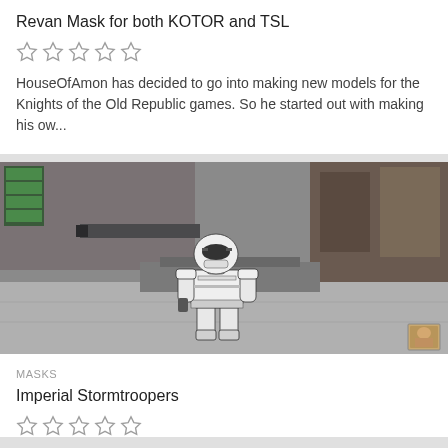Revan Mask for both KOTOR and TSL
HouseOfAmon has decided to go into making new models for the Knights of the Old Republic games. So he started out with making his ow...
[Figure (screenshot): Video game screenshot showing a Stormtrooper character standing in a sci-fi environment with large spacecraft or building structures in the background. A small portrait icon is visible in the bottom right corner.]
MASKS
Imperial Stormtroopers